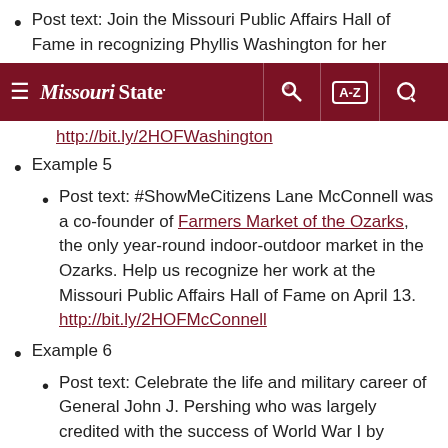Post text: Join the Missouri Public Affairs Hall of Fame in recognizing Phyllis Washington for her
Missouri State [navigation bar]
http://bit.ly/2HOFWashington
Example 5
Post text: #ShowMeCitizens Lane McConnell was a co-founder of Farmers Market of the Ozarks, the only year-round indoor-outdoor market in the Ozarks. Help us recognize her work at the Missouri Public Affairs Hall of Fame on April 13. http://bit.ly/2HOFMcConnell
Example 6
Post text: Celebrate the life and military career of General John J. Pershing who was largely credited with the success of World War I by President Woodrow Wilson. #ShowMeCitizens http://bit.ly/2HOFPershing